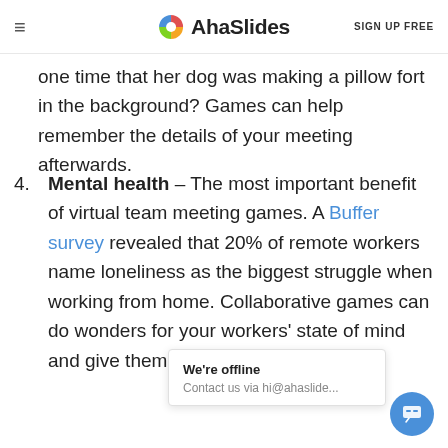AhaSlides — SIGN UP FREE
one time that her dog was making a pillow fort in the background? Games can help remember the details of your meeting afterwards.
4. Mental health – The most important benefit of virtual team meeting games. A Buffer survey revealed that 20% of remote workers name loneliness as the biggest struggle when working from home. Collaborative games can do wonders for your workers' state of mind and give them ... ss
We're offline
Contact us via hi@ahaslide...